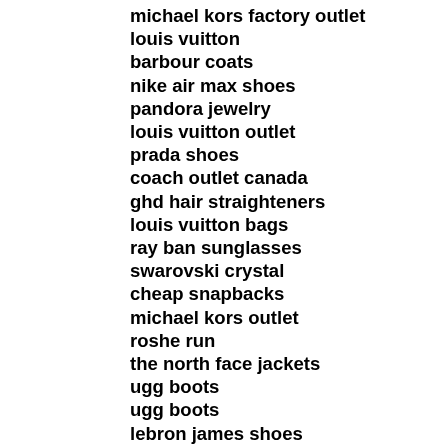michael kors factory outlet
louis vuitton
barbour coats
nike air max shoes
pandora jewelry
louis vuitton outlet
prada shoes
coach outlet canada
ghd hair straighteners
louis vuitton bags
ray ban sunglasses
swarovski crystal
cheap snapbacks
michael kors outlet
roshe run
the north face jackets
ugg boots
ugg boots
lebron james shoes
nike huarache
michael kors outlet
winter jackets